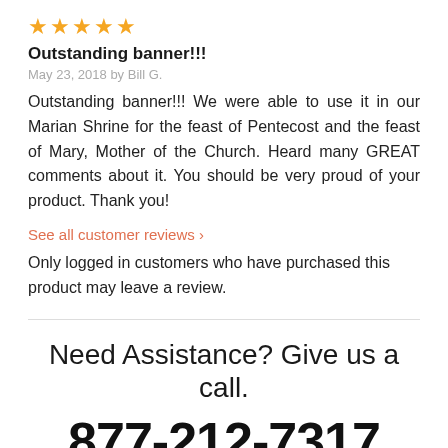[Figure (other): Five gold star rating icons]
Outstanding banner!!!
May 23, 2018 by Bill G.
Outstanding banner!!! We were able to use it in our Marian Shrine for the feast of Pentecost and the feast of Mary, Mother of the Church. Heard many GREAT comments about it. You should be very proud of your product. Thank you!
See all customer reviews ›
Only logged in customers who have purchased this product may leave a review.
Need Assistance? Give us a call.
877-212-7317